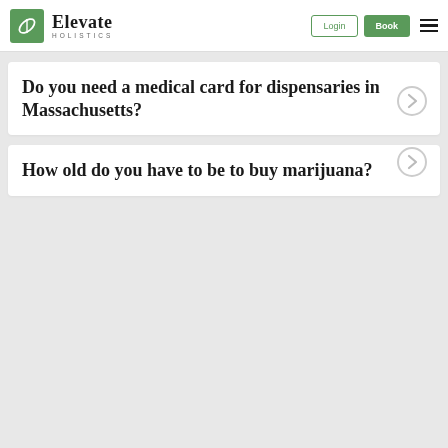Elevate Holistics — Login | Book
Do you need a medical card for dispensaries in Massachusetts?
How old do you have to be to buy marijuana?